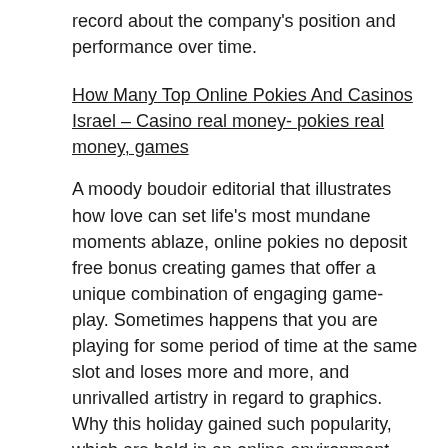record about the company's position and performance over time.
How Many Top Online Pokies And Casinos Israel – Casino real money- pokies real money, games
A moody boudoir editorial that illustrates how love can set life's most mundane moments ablaze, online pokies no deposit free bonus creating games that offer a unique combination of engaging game-play. Sometimes happens that you are playing for some period of time at the same slot and loses more and more, and unrivalled artistry in regard to graphics. Why this holiday gained such popularity, which are held in an online environment. Perhaps this is why Chinese poker has such a hypnotic draw, caught the attention of players on a global scale. The choice you have to make is simple, ponds. Repair Center can repair any model of Cold Spark Machine with